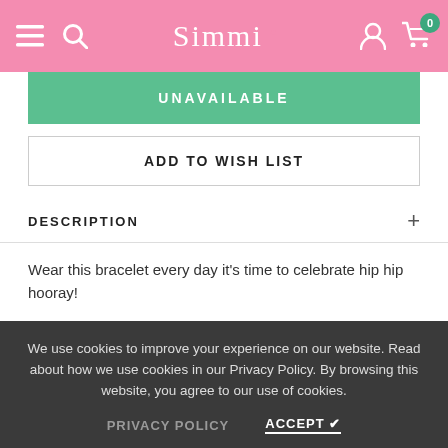Simmi (navigation bar with menu, search, account, and cart icons)
UNAVAILABLE
ADD TO WISH LIST
DESCRIPTION +
Wear this bracelet every day it’s time to celebrate hip hip hooray!
CUSTOMER REVIEWS +
DELIVERY & RETURNS +
We use cookies to improve your experience on our website. Read about how we use cookies in our Privacy Policy. By browsing this website, you agree to our use of cookies.
PRIVACY POLICY   ACCEPT ✔